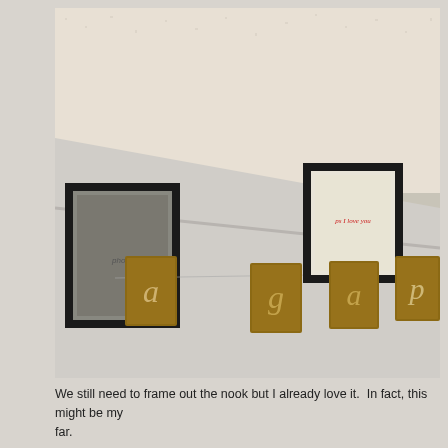[Figure (photo): Interior photo showing decorative wall art hung high near the ceiling. Several wooden block tiles with letters painted on them are strung along a wire or string. Two black picture frames hang on the wall — one on the left containing a black and white photo, and one in the center containing a cream-colored card with red text reading 'ps I love you'. The wooden tiles spell out letters (a, g, a, p, ...). The wall is white/off-white and the ceiling is textured.]
We still need to frame out the nook but I already love it.  In fact, this might be my far.